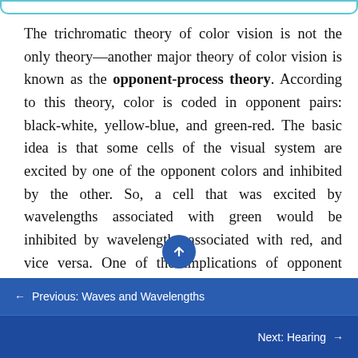[Figure (other): Top decorative border bar with teal/cyan outline, rounded bottom corners]
The trichromatic theory of color vision is not the only theory—another major theory of color vision is known as the opponent-process theory. According to this theory, color is coded in opponent pairs: black-white, yellow-blue, and green-red. The basic idea is that some cells of the visual system are excited by one of the opponent colors and inhibited by the other. So, a cell that was excited by wavelengths associated with green would be inhibited by wavelengths associated with red, and vice versa. One of the implications of opponent processing is that we do not experience greenish-reds or yellowish-blues as colors. Another implication is that
← Previous: Waves and Wavelengths
Next: Hearing →